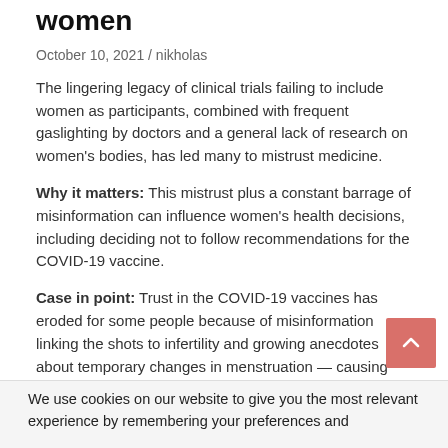women
October 10, 2021 / nikholas
The lingering legacy of clinical trials failing to include women as participants, combined with frequent gaslighting by doctors and a general lack of research on women's bodies, has led many to mistrust medicine.
Why it matters: This mistrust plus a constant barrage of misinformation can influence women's health decisions, including deciding not to follow recommendations for the COVID-19 vaccine.
Case in point: Trust in the COVID-19 vaccines has eroded for some people because of misinformation linking the shots to infertility and growing anecdotes about temporary changes in menstruation — causing confusion and hesitancy.
“For many women, their minds go there right away
We use cookies on our website to give you the most relevant experience by remembering your preferences and consent to the